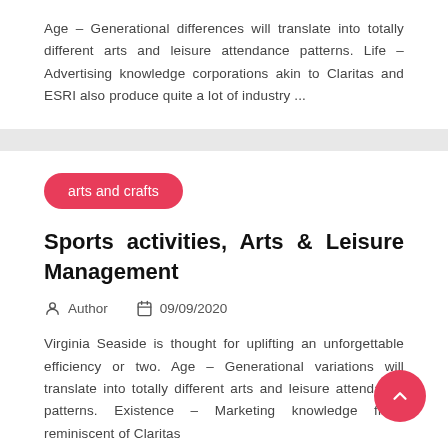Age – Generational differences will translate into totally different arts and leisure attendance patterns. Life – Advertising knowledge corporations akin to Claritas and ESRI also produce quite a lot of industry ...
arts and crafts
Sports activities, Arts & Leisure Management
Author   09/09/2020
Virginia Seaside is thought for uplifting an unforgettable efficiency or two. Age – Generational variations will translate into totally different arts and leisure attendance patterns. Existence – Marketing knowledge firms reminiscent of Claritas